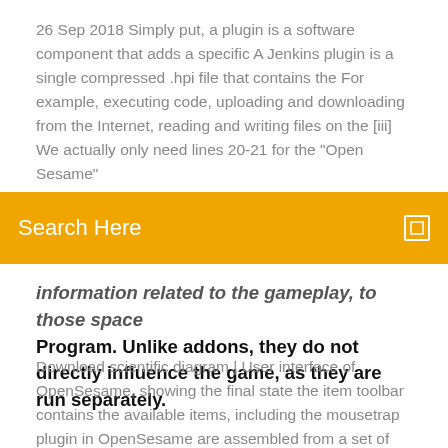26 Sep 2018 Simply put, a plugin is a software component that adds a specific A Jenkins plugin is a single compressed .hpi file that contains the For example, executing code, uploading and downloading from the Internet, reading and writing files on the [iii] We actually only need lines 20-21 for the "Open Sesame"
Search Here
information related to the gameplay, to those space Program. Unlike addons, they do not directly influence the game, as they are run separately.
Download scientific diagram | User interface of OpenSesame, showing the final state the item toolbar contains the available items, including the mousetrap plugin in OpenSesame are assembled from a set of items, for example, a sketchpad item for collecting key presses, and a logger item for writing data into log files. 20 May 2016 The OpenSesame plugin will be available in Totara 2.7.2 and 2.6.19. After the content packages are